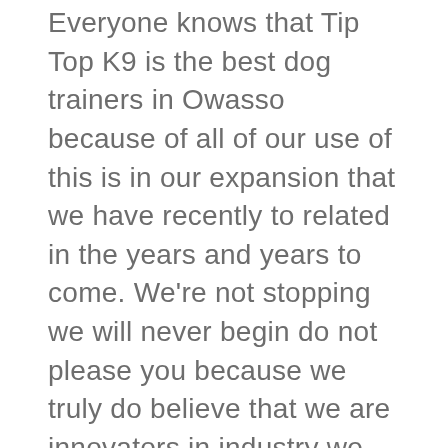Everyone knows that Tip Top K9 is the best dog trainers in Owasso because of all of our use of this is in our expansion that we have recently to related in the years and years to come. We're not stopping we will never begin do not please you because we truly do believe that we are innovators in industry we cannot wait to improve a systematic method each and every time because we cannot wait to be able to train all the dogs in the possibly can and give them the best life that they have because we know an obedient dog happy dog because an obedient dog is going to make the owner very happy and